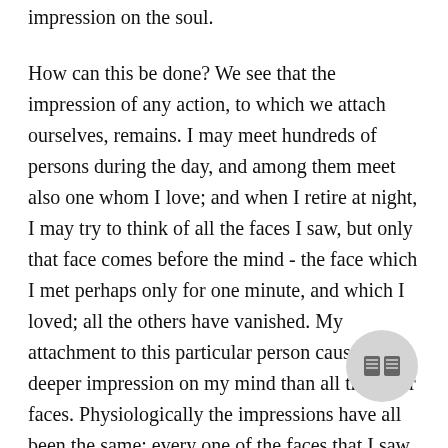impression on the soul.
How can this be done? We see that the impression of any action, to which we attach ourselves, remains. I may meet hundreds of persons during the day, and among them meet also one whom I love; and when I retire at night, I may try to think of all the faces I saw, but only that face comes before the mind - the face which I met perhaps only for one minute, and which I loved; all the others have vanished. My attachment to this particular person caused a deeper impression on my mind than all the other faces. Physiologically the impressions have all been the same; every one of the faces that I saw pictured itself on the retina, and the brain took the pictures in, and yet there was no similarity of effect
[Figure (illustration): A circular grey book/reading icon button in the bottom right corner of the page]